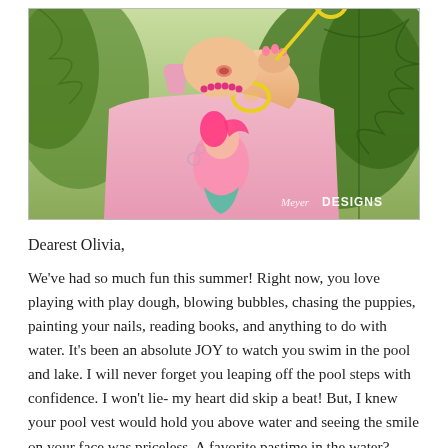[Figure (photo): A young girl in a pink mermaid tank top blowing bubbles with a yellow bubble wand. She holds the wand up to her mouth. Green trees visible in background. Meyer DESIGNS watermark in bottom right corner.]
Dearest Olivia,
We've had so much fun this summer! Right now, you love playing with play dough, blowing bubbles, chasing the puppies, painting your nails, reading books, and anything to do with water. It's been an absolute JOY to watch you swim in the pool and lake. I will never forget you leaping off the pool steps with confidence. I won't lie- my heart did skip a beat! But, I knew your pool vest would hold you above water and seeing the smile on your face was priceless. A favorite pastime in the water?